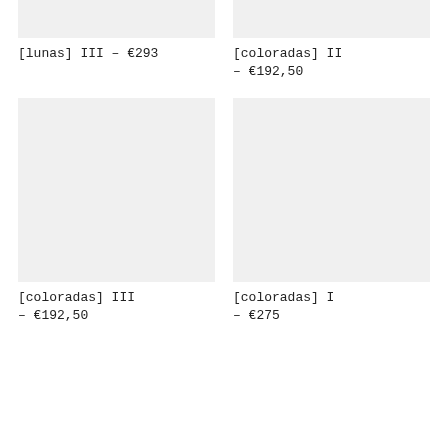[Figure (photo): Top-left product image placeholder, light gray background, cropped]
[lunas] III — €293
[Figure (photo): Top-right product image placeholder, light gray background, cropped]
[coloradas] II — €192,50
[Figure (photo): Bottom-left product image placeholder, light gray background, full square]
[coloradas] III — €192,50
[Figure (photo): Bottom-right product image placeholder, light gray background, full square]
[coloradas] I — €275